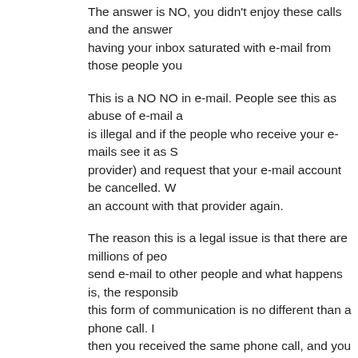The answer is NO, you didn't enjoy these calls and the answer having your inbox saturated with e-mail from those people you
This is a NO NO in e-mail. People see this as abuse of e-mail a is illegal and if the people who receive your e-mails see it as S provider) and request that your e-mail account be cancelled. W an account with that provider again.
The reason this is a legal issue is that there are millions of peo send e-mail to other people and what happens is, the responsib this form of communication is no different than a phone call. I then you received the same phone call, and you called me and on their list, say their daughter, called me with the same messa waste my time to get the same message from 3 -- or who know the e-mail world.
Remember that e-mail is an effective use of communicating to NetProfitMarketing.com is an Internet Marketing firm that ass through effective marketing implementation. Our services incl press releases, site nominations and awards, and many other se require any Internet marketing you can reach us at www.netpro info@netprofitmarketing.com . We write multiple articles abo to the world, how to do it correctly, and so on. If you have an a to see an article written about it, please forward to lisak@netpr